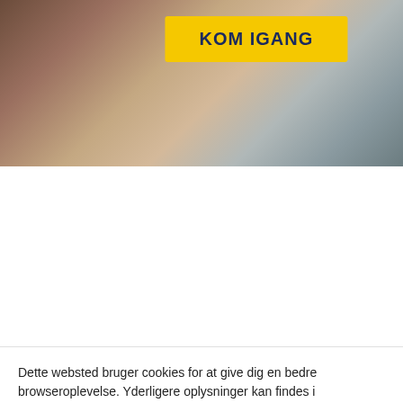[Figure (photo): Background photo of a person, partially visible, with a yellow button overlay labeled KOM IGANG]
[Figure (logo): LinkedIn logo — white 'in' text on a blue rounded square background]
CONNECT MED OS
Dette websted bruger cookies for at give dig en bedre browseroplevelse. Yderligere oplysninger kan findes i Fortrolighedspolitik. Ved at klikke på "Accept" accepterer du brugen af ALLE cookies.
Cookie indstillinger
ACCEPTER